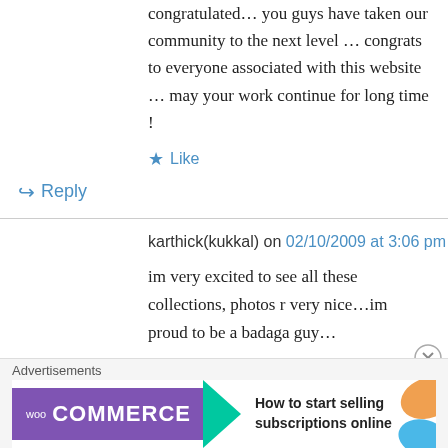congratulated… you guys have taken our community to the next level … congrats to everyone associated with this website … may your work continue for long time !
★ Like
↳ Reply
karthick(kukkal) on 02/10/2009 at 3:06 pm
im very excited to see all these collections, photos r very nice...im proud to be a badaga guy…
Advertisements
[Figure (screenshot): WooCommerce advertisement banner: purple WooCommerce logo with green arrow and text 'How to start selling subscriptions online' with orange and blue decorative shapes on the right.]